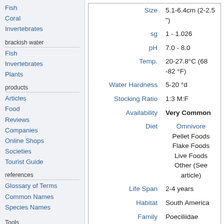Fish
Coral
Invertebrates
brackish water
Fish
Invertebrates
Plants
products
Articles
Food
Reviews
Companies
Online Shops
Societies
Tourist Guide
references
Glossary of Terms
Common Names
Species Names
Tools
| Label | Value |
| --- | --- |
| Size | 5.1-6.4cm (2-2.5 ") |
| sg | 1 - 1.026 |
| pH | 7.0 - 8.0 |
| Temp. | 20-27.8°C (68 -82 °F) |
| Water Hardness | 5-20 °d |
| Stocking Ratio | 1:3 M:F |
| Availability | Very Common |
| Diet | Omnivore
Pellet Foods
Flake Foods
Live Foods
Other (See article) |
| Life Span | 2-4 years |
| Habitat | South America |
| Family | Poeciliidae |
This animal is available captive bred
Contents [hide]